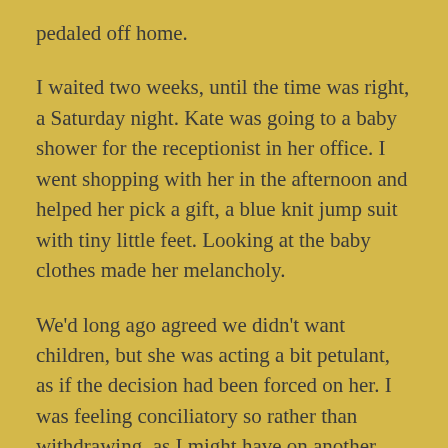pedaled off home.
I waited two weeks, until the time was right, a Saturday night. Kate was going to a baby shower for the receptionist in her office. I went shopping with her in the afternoon and helped her pick a gift, a blue knit jump suit with tiny little feet. Looking at the baby clothes made her melancholy.
We'd long ago agreed we didn't want children, but she was acting a bit petulant, as if the decision had been forced on her. I was feeling conciliatory so rather than withdrawing, as I might have on another day, I said I'd put a bottle of wine in the fridge and we'd have it by candlelight when she came home.